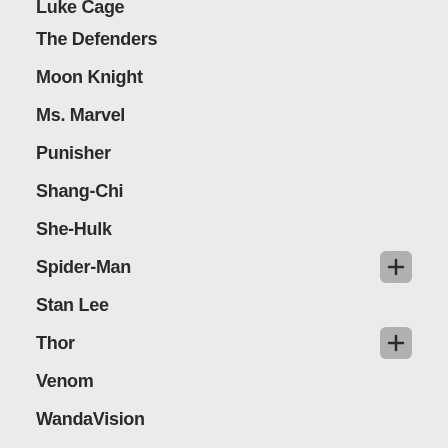Luke Cage
The Defenders
Moon Knight
Ms. Marvel
Punisher
Shang-Chi
She-Hulk
Spider-Man
Stan Lee
Thor
Venom
WandaVision
What If?
Wolverine
X-Men